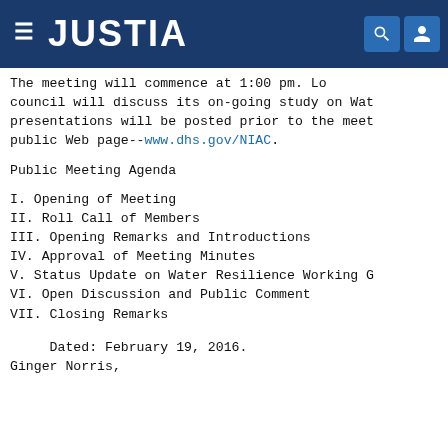JUSTIA
The meeting will commence at 1:00 pm. The council will discuss its on-going study on Wat... presentations will be posted prior to the meet... public Web page--www.dhs.gov/NIAC.
Public Meeting Agenda
I. Opening of Meeting
II. Roll Call of Members
III. Opening Remarks and Introductions
IV. Approval of Meeting Minutes
V. Status Update on Water Resilience Working G
VI. Open Discussion and Public Comment
VII. Closing Remarks
Dated: February 19, 2016.
Ginger Norris,